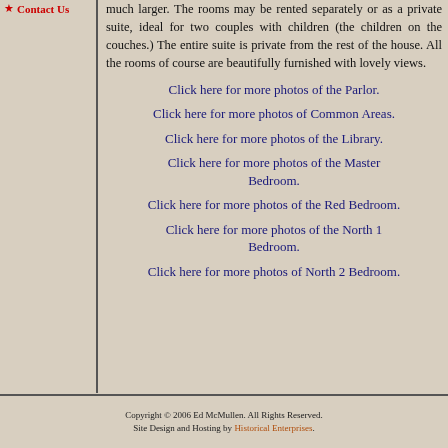much larger. The rooms may be rented separately or as a private suite, ideal for two couples with children (the children on the couches.) The entire suite is private from the rest of the house. All the rooms of course are beautifully furnished with lovely views.
Click here for more photos of the Parlor.
Click here for more photos of Common Areas.
Click here for more photos of the Library.
Click here for more photos of the Master Bedroom.
Click here for more photos of the Red Bedroom.
Click here for more photos of the North 1 Bedroom.
Click here for more photos of North 2 Bedroom.
Copyright © 2006 Ed McMullen. All Rights Reserved. Site Design and Hosting by Historical Enterprises.